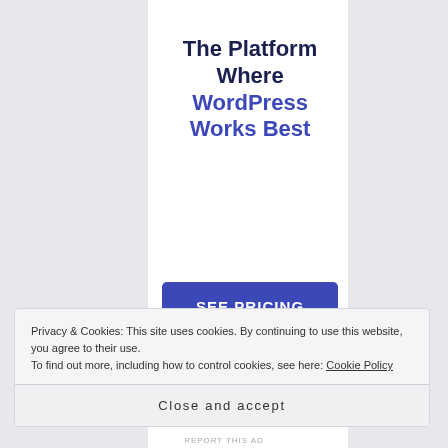The Platform Where WordPress Works Best
[Figure (other): Blue 'SEE PRICING' call-to-action button]
Privacy & Cookies: This site uses cookies. By continuing to use this website, you agree to their use.
To find out more, including how to control cookies, see here: Cookie Policy
Close and accept
REPORT THIS AD